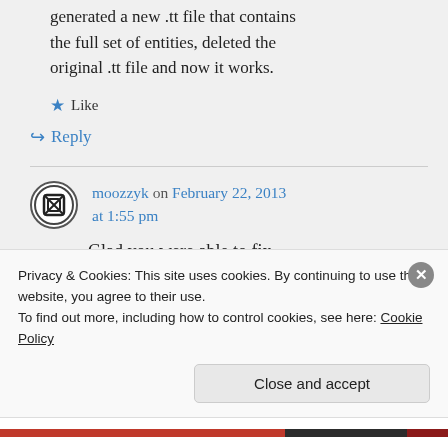generated a new .tt file that contains the full set of entities, deleted the original .tt file and now it works.
Like
Reply
moozzyk on February 22, 2013 at 1:55 pm
Glad you were able to fix
Privacy & Cookies: This site uses cookies. By continuing to use this website, you agree to their use.
To find out more, including how to control cookies, see here: Cookie Policy
Close and accept